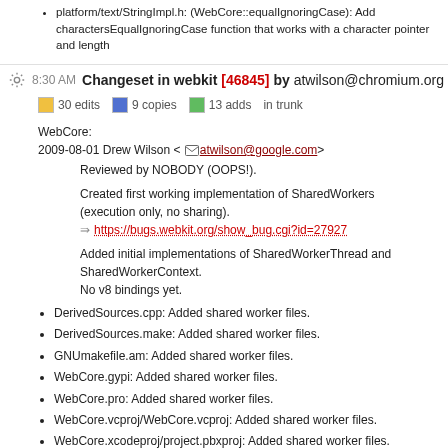platform/text/StringImpl.h: (WebCore::equalIgnoringCase): Add charactersEqualIgnoringCase function that works with a character pointer and length
8:30 AM Changeset in webkit [46845] by atwilson@chromium.org
30 edits  9 copies  13 adds  in trunk
WebCore:
2009-08-01 Drew Wilson <atwilson@google.com>
Reviewed by NOBODY (OOPS!).
Created first working implementation of SharedWorkers (execution only, no sharing).
https://bugs.webkit.org/show_bug.cgi?id=27927
Added initial implementations of SharedWorkerThread and SharedWorkerContext.
No v8 bindings yet.
DerivedSources.cpp: Added shared worker files.
DerivedSources.make: Added shared worker files.
GNUmakefile.am: Added shared worker files.
WebCore.gypi: Added shared worker files.
WebCore.pro: Added shared worker files.
WebCore.vcproj/WebCore.vcproj: Added shared worker files.
WebCore.xcodeproj/project.pbxproj: Added shared worker files.
bindings/js/JSEventTarget.cpp: (WebCore::toJS): Added code to convert from EventTarget to correct JS class. (WebCore::toEventTarget): Added